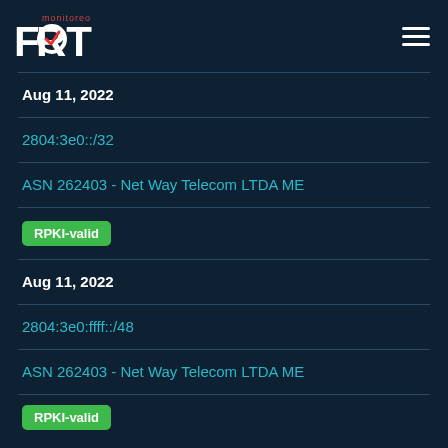[Figure (logo): Fort Monitoreo logo with checkmark]
Aug 11, 2022
2804:3e0::/32
ASN 262403 - Net Way Telecom LTDA ME
RPKI-valid
Aug 11, 2022
2804:3e0:ffff::/48
ASN 262403 - Net Way Telecom LTDA ME
RPKI-valid